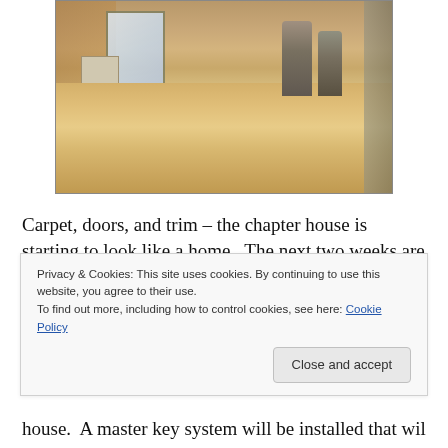[Figure (photo): Interior of a chapter house under construction showing two workers in hard hats standing on a newly installed hardwood floor. The room has warm tan/brown walls with a window visible in the background and construction materials to the side.]
Carpet, doors, and trim – the chapter house is starting to look like a home.  The next two weeks are going to be a flurry of activity to finish by August 17.  This week carpet is
Privacy & Cookies: This site uses cookies. By continuing to use this website, you agree to their use.
To find out more, including how to control cookies, see here: Cookie Policy
Close and accept
house.  A master key system will be installed that will